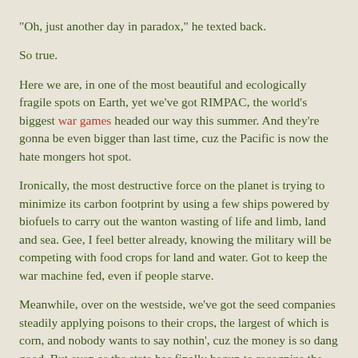"Oh, just another day in paradox," he texted back.
So true.
Here we are, in one of the most beautiful and ecologically fragile spots on Earth, yet we've got RIMPAC, the world's biggest war games headed our way this summer. And they're gonna be even bigger than last time, cuz the Pacific is now the hate mongers hot spot.
Ironically, the most destructive force on the planet is trying to minimize its carbon footprint by using a few ships powered by biofuels to carry out the wanton wasting of life and limb, land and sea. Gee, I feel better already, knowing the military will be competing with food crops for land and water. Got to keep the war machine fed, even if people starve.
Meanwhile, over on the westside, we've got the seed companies steadily applying poisons to their crops, the largest of which is corn, and nobody wants to say nothin', cuz the money is so dang good. But even as the state has finally begun to recognize the critical importance of honeybees to Island farming, three new studies are fingering common agricultural insecticides — particularly the neonicotinoids heavily used on corn — for